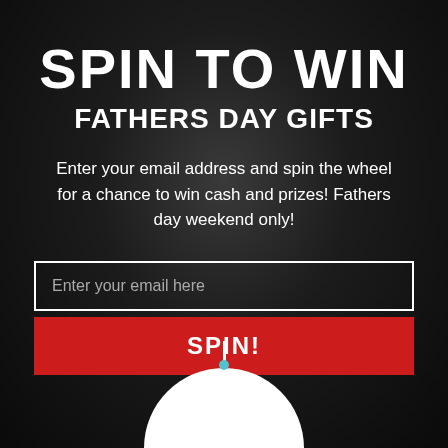SPIN TO WIN
FATHERS DAY GIFTS
Enter your email address and spin the wheel for a chance to win cash and prizes! Fathers day weekend only!
[Figure (other): Email input form with placeholder text 'Enter your email here' and a red SPIN! button below]
[Figure (other): Bottom portion of a spin wheel showing white semicircle with a pin/pointer at top and a teal dot]